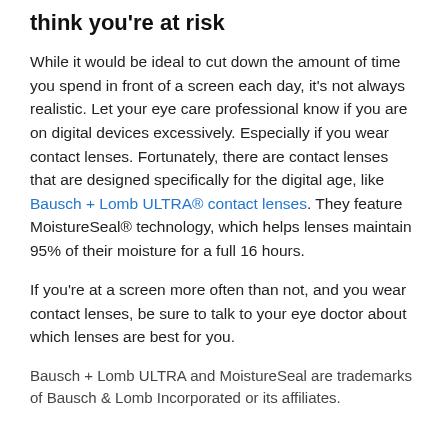think you're at risk
While it would be ideal to cut down the amount of time you spend in front of a screen each day, it's not always realistic. Let your eye care professional know if you are on digital devices excessively. Especially if you wear contact lenses. Fortunately, there are contact lenses that are designed specifically for the digital age, like Bausch + Lomb ULTRA® contact lenses. They feature MoistureSeal® technology, which helps lenses maintain 95% of their moisture for a full 16 hours.
If you're at a screen more often than not, and you wear contact lenses, be sure to talk to your eye doctor about which lenses are best for you.
Bausch + Lomb ULTRA and MoistureSeal are trademarks of Bausch & Lomb Incorporated or its affiliates.